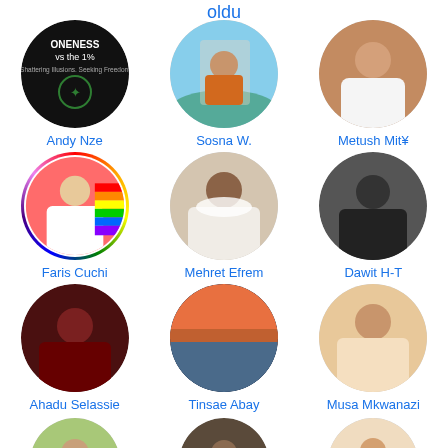oldu
[Figure (photo): Circular profile photo grid showing 9 people with names and 3 partial photos at bottom. Names: Andy Nze, Sosna W., Metush Mit¥, Faris Cuchi, Mehret Efrem, Dawit H-T, Ahadu Selassie, Tinsae Abay, Musa Mkwanazi]